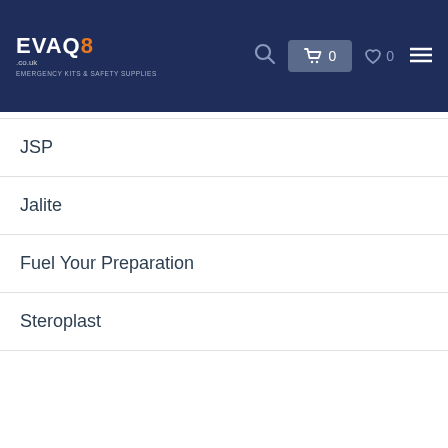EVAQ8.co.uk — EMERGENCY KITS & SAFETY SUPPLIES
JSP
Jalite
Fuel Your Preparation
Steroplast
We use cookies to better understand how the site is used and give you the best experience. By continuing to use this site, you consent to our Cookie Policy. Click to learn more